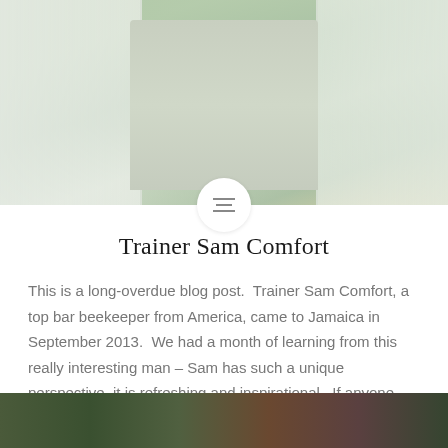[Figure (photo): Photo of a person wearing a white lab coat or jacket with a light green/beige inner shirt, standing outdoors with green foliage in the background. The top portion shows the torso area. A circular menu icon with three horizontal lines is overlaid at the bottom center of the photo.]
Trainer Sam Comfort
This is a long-overdue blog post.  Trainer Sam Comfort, a top bar beekeeper from America, came to Jamaica in September 2013.  We had a month of learning from this really interesting man – Sam has such a unique perspective, it is refreshing and inspirational.  If anyone can inspire people to color outside the lines of...
READ MORE